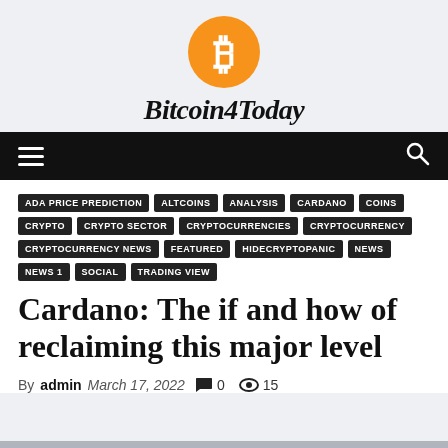[Figure (logo): Bitcoin4Today website logo: orange circle with white Bitcoin B symbol above site name in italic bold font]
Bitcoin4Today navigation bar with hamburger menu and search icon
ADA PRICE PREDICTION
ALTCOINS
ANALYSIS
CARDANO
COINS
CRYPTO
CRYPTO SECTOR
CRYPTOCURRENCIES
CRYPTOCURRENCY
CRYPTOCURRENCY NEWS
FEATURED
HIDECRYPTOPANIC
NEWS
NEWS 1
SOCIAL
TRADING VIEW
Cardano: The if and how of reclaiming this major level
By admin  March 17, 2022  0  15